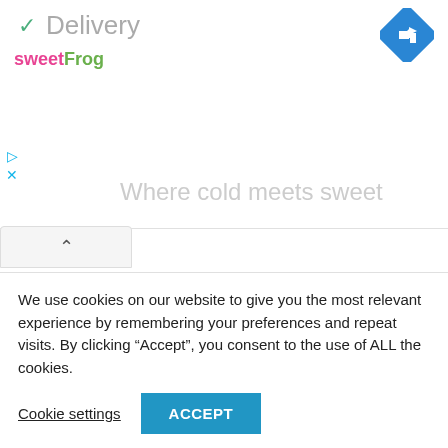✓ Delivery
[Figure (logo): SweetFrog logo with pink 'sweet' and green 'Frog' text]
[Figure (illustration): Blue diamond navigation/turn-right icon in top right corner]
Where cold meets sweet
[Figure (screenshot): Collapse/chevron up button panel]
[Figure (screenshot): Avatar placeholder with person silhouette icon, and comment input box with placeholder text 'Start the discussion...']
Start the discussion...
We use cookies on our website to give you the most relevant experience by remembering your preferences and repeat visits. By clicking “Accept”, you consent to the use of ALL the cookies.
Cookie settings
ACCEPT